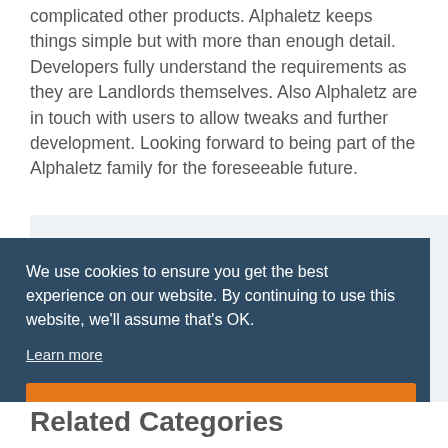complicated other products. Alphaletz keeps things simple but with more than enough detail. Developers fully understand the requirements as they are Landlords themselves. Also Alphaletz are in touch with users to allow tweaks and further development. Looking forward to being part of the Alphaletz family for the foreseeable future.
We use cookies to ensure you get the best experience on our website. By continuing to use this website, we'll assume that's OK.
Learn more
OK
Related Categories